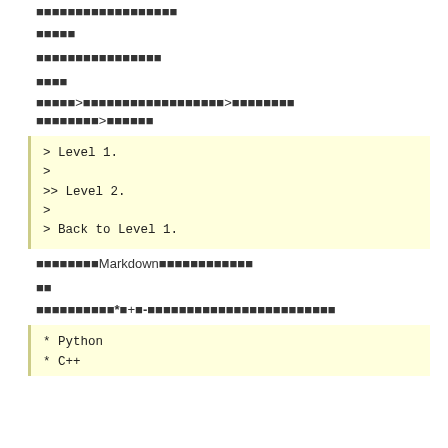■■■■■■■■■■■■■■■■■■
■■■■■
■■■■■■■■■■■■■■■■
■■■■
■■■■■>■■■■■■■■■■■■■■■■■■>■■■■■■■■■■■■■■■■>■■■■■■
[Figure (other): Code block showing blockquote nesting syntax: '> Level 1.' / '>' / '>> Level 2.' / '>' / '> Back to Level 1.']
■■■■■■■■Markdown■■■■■■■■■■■■
■■
■■■■■■■■■■*■+■-■■■■■■■■■■■■■■■■■■■■■■■■
[Figure (other): Code block showing list syntax: '* Python' / '* C++...']